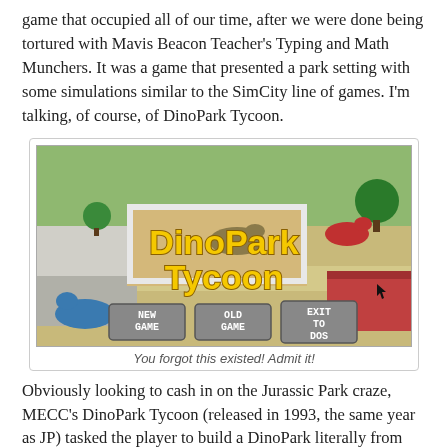game that occupied all of our time, after we were done being tortured with Mavis Beacon Teacher's Typing and Math Munchers. It was a game that presented a park setting with some simulations similar to the SimCity line of games. I'm talking, of course, of DinoPark Tycoon.
[Figure (screenshot): Screenshot of DinoPark Tycoon game showing isometric park view with dinosaur enclosures, trees, paths, and menu buttons: NEW GAME, OLD GAME, EXIT TO DOS. The game title 'DinoPark Tycoon' is displayed in large yellow letters.]
You forgot this existed! Admit it!
Obviously looking to cash in on the Jurassic Park craze, MECC's DinoPark Tycoon (released in 1993, the same year as JP) tasked the player to build a DinoPark literally from the ground up.